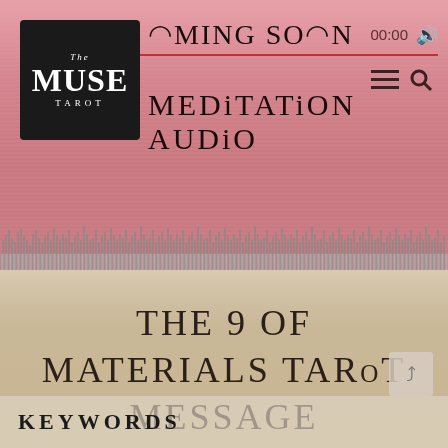[Figure (screenshot): The Muse Tarot logo – black square with white stylized text reading THE MUSE TAROT]
COMING SOON
00:00
MEDITATION AUDIO
[Figure (screenshot): Audio player bar with play button, time 00:00 on left, progress bar, and 00:00 on right]
[Figure (other): Audio waveform visualization with vertical bars in gray/pink tones]
THE 9 OF MATERIALS TAROT MESSAGE
KEYWORDS